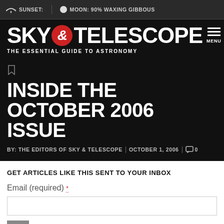SUNSET: | MOON: 90% WAXING GIBBOUS
SKY & TELESCOPE
THE ESSENTIAL GUIDE TO ASTRONOMY
INSIDE THE OCTOBER 2006 ISSUE
BY: THE EDITORS OF SKY & TELESCOPE | OCTOBER 1, 2006 | 0
GET ARTICLES LIKE THIS SENT TO YOUR INBOX
Email (required) *